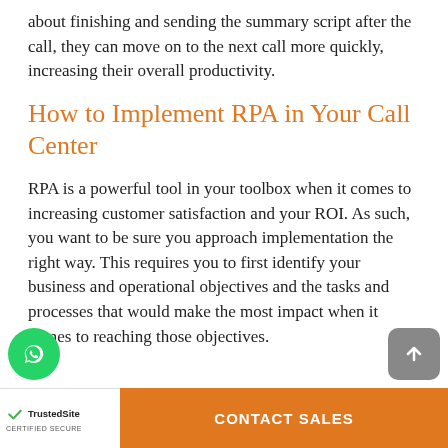about finishing and sending the summary script after the call, they can move on to the next call more quickly, increasing their overall productivity.
How to Implement RPA in Your Call Center
RPA is a powerful tool in your toolbox when it comes to increasing customer satisfaction and your ROI. As such, you want to be sure you approach implementation the right way. This requires you to first identify your business and operational objectives and the tasks and processes that would make the most impact when it comes to reaching those objectives.
TrustedSite CERTIFIED SECURE | CONTACT SALES